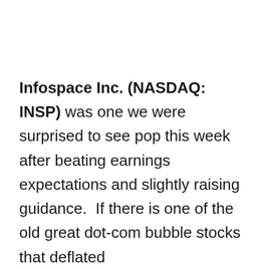Infospace Inc. (NASDAQ: INSP) was one we were surprised to see pop this week after beating earnings expectations and slightly raising guidance.  If there is one of the old great dot-com bubble stocks that deflated